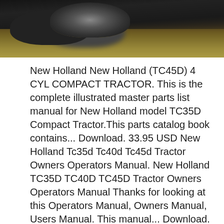[Figure (photo): Black and white / sepia photo of a compact tractor (New Holland TC45D) in a field with dry grass]
New Holland New Holland (TC45D) 4 CYL COMPACT TRACTOR. This is the complete illustrated master parts list manual for New Holland model TC35D Compact Tractor.This parts catalog book contains... Download. 33.95 USD New Holland Tc35d Tc40d Tc45d Tractor Owners Operators Manual. New Holland TC35D TC40D TC45D Tractor Owners Operators Manual Thanks for looking at this Operators Manual, Owners Manual, Users Manual. This manual... Download. 19.95 USD New, Ford New Holland TC45D Manuals. If you are not finding what you need from a Ford New